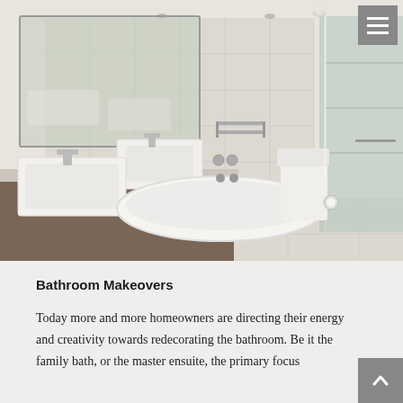[Figure (photo): Modern bathroom interior with two white rectangular vessel sinks on a dark vanity, a large wall mirror, a freestanding white oval bathtub in the centre, toilet and glass-enclosed shower area on the right, neutral beige tiles throughout.]
Bathroom Makeovers
Today more and more homeowners are directing their energy and creativity towards redecorating the bathroom. Be it the family bath, or the master ensuite, the primary focus